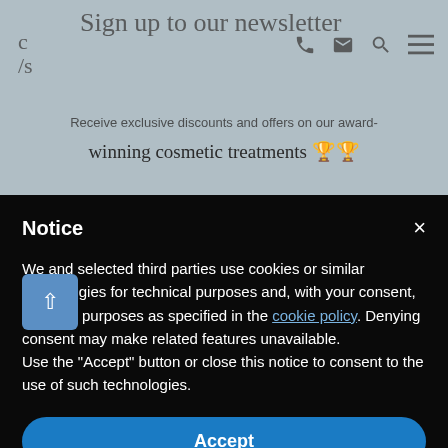Sign up to our newsletter
Receive exclusive discounts and offers on our award-winning cosmetic treatments 🏆🏆
Notice
We and selected third parties use cookies or similar technologies for technical purposes and, with your consent, for other purposes as specified in the cookie policy. Denying consent may make related features unavailable.
Use the "Accept" button or close this notice to consent to the use of such technologies.
Accept
Learn more and customise